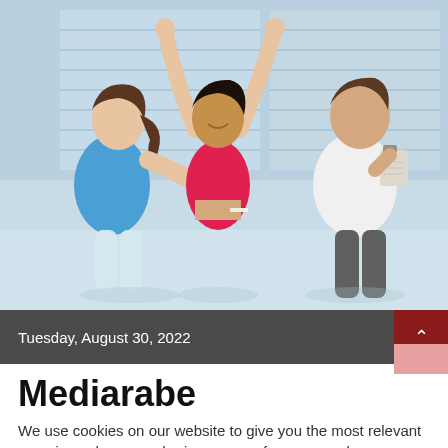[Figure (photo): Three people in a gym setting. A woman in a blue top measures the waist of a woman in a red crop top who has her arms raised in celebration. A man in a white t-shirt holding a clipboard looks on. Bright, airy gym interior with large windows in the background.]
Tuesday, August 30, 2022
Mediarabe
We use cookies on our website to give you the most relevant experience by remembering your preferences and